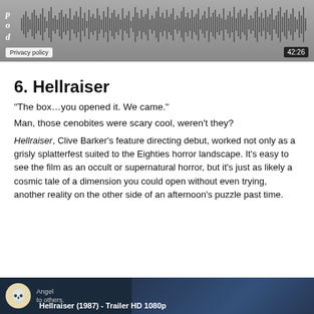[Figure (screenshot): Audio player with waveform visualization showing a podcast episode. The player has a dark gray background with a waveform and time display showing 42:26. A 'Privacy policy' label appears bottom left. Letters 'p', 'o', 'd' appear on left side.]
6. Hellraiser
“The box…you opened it. We came.”
Man, those cenobites were scary cool, weren’t they?
Hellraiser, Clive Barker’s feature directing debut, worked not only as a grisly splatterfest suited to the Eighties horror landscape. It’s easy to see the film as an occult or supernatural horror, but it’s just as likely a cosmic tale of a dimension you could open without even trying, another reality on the other side of an afternoon’s puzzle past time.
[Figure (screenshot): Video thumbnail showing Hellraiser (1987) trailer HD 1080p with a skull icon and dark blue background.]